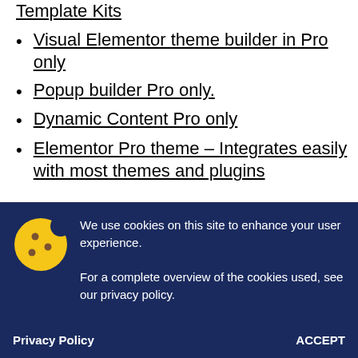Template Kits
Visual Elementor theme builder in Pro only
Popup builder Pro only.
Dynamic Content Pro only
Elementor Pro theme – Integrates easily with most themes and plugins
We use cookies on this site to enhance your user experience.
For a complete overview of the cookies used, see our privacy policy.
Privacy Policy    ACCEPT